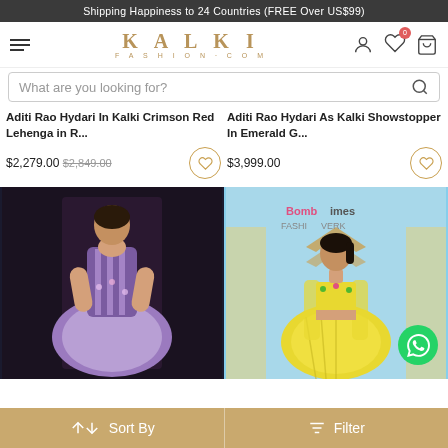Shipping Happiness to 24 Countries (FREE Over US$99)
[Figure (screenshot): Kalki Fashion website navigation bar with hamburger menu, Kalki Fashion.com logo, user icon, wishlist icon with badge '0', and cart icon]
What are you looking for?
Aditi Rao Hydari In Kalki Crimson Red Lehenga in R...
$2,279.00 $2,849.00
Aditi Rao Hydari As Kalki Showstopper In Emerald G...
$3,999.00
[Figure (photo): Model wearing purple floral lehenga at fashion show]
[Figure (photo): Model wearing yellow lehenga at Bombay Times Fashion Week]
Sort By   Filter